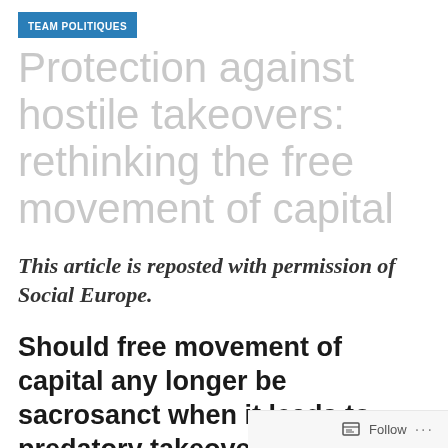TEAM POLITIQUES
Protection against hostile takeovers: rethinking the free movement of capital
This article is reposted with permission of Social Europe.
Should free movement of capital any longer be sacrosanct when it leads to predatory takeovers and